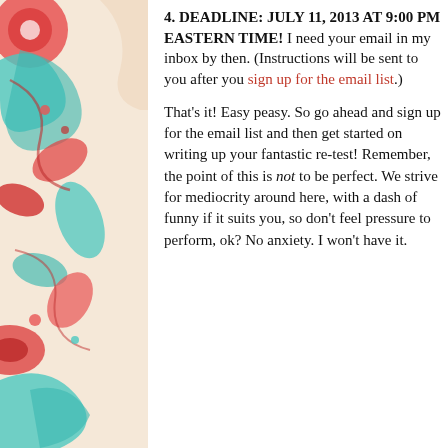4. DEADLINE: JULY 11, 2013 at 9:00 PM EASTERN TIME! I need your email in my inbox by then. (Instructions will be sent to you after you sign up for the email list.)
That's it! Easy peasy. So go ahead and sign up for the email list and then get started on writing up your fantastic re-test! Remember, the point of this is not to be perfect. We strive for mediocrity around here, with a dash of funny if it suits you, so don't feel pressure to perform, ok? No anxiety. I won't have it.
[Figure (logo): Green square share/social button icon with circular arrow symbol]
UM BUBBLE